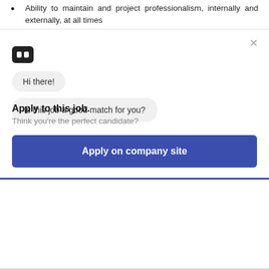Ability to maintain and project professionalism, internally and externally, at all times
[Figure (screenshot): Chat bot widget showing bot avatar icon, 'Hi there!' bubble, 'Is this job a good match for you?' bubble, and two response buttons: 'Yeah, it's great!' and 'Not really...' with a close X button in the top right]
Apply to this job.
Think you're the perfect candidate?
Apply on company site